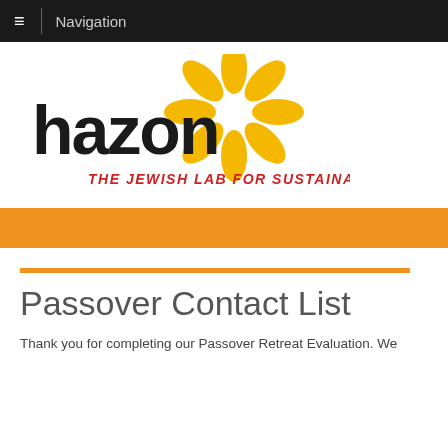Navigation
[Figure (logo): Hazon logo with yellow sunflower/daisy graphic and tagline 'THE JEWISH LAB FOR SUSTAINABILITY' in red italic text]
Passover Contact List
Thank you for completing our Passover Retreat Evaluation. We